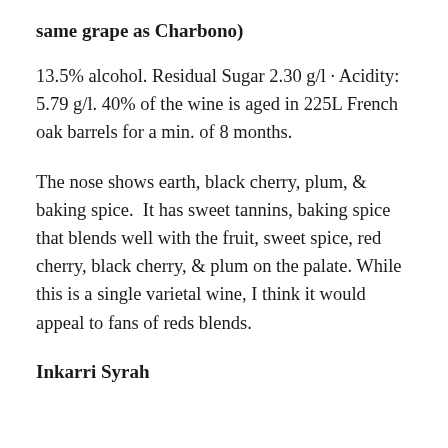same grape as Charbono)
13.5% alcohol. Residual Sugar 2.30 g/l · Acidity: 5.79 g/l. 40% of the wine is aged in 225L French oak barrels for a min. of 8 months.
The nose shows earth, black cherry, plum, & baking spice.  It has sweet tannins, baking spice that blends well with the fruit, sweet spice, red cherry, black cherry, & plum on the palate. While this is a single varietal wine, I think it would appeal to fans of reds blends.
Inkarri Syrah